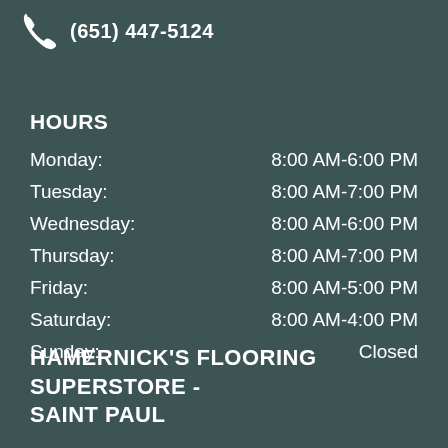(651) 447-5124
HOURS
| Day | Hours |
| --- | --- |
| Monday: | 8:00 AM-6:00 PM |
| Tuesday: | 8:00 AM-7:00 PM |
| Wednesday: | 8:00 AM-6:00 PM |
| Thursday: | 8:00 AM-7:00 PM |
| Friday: | 8:00 AM-5:00 PM |
| Saturday: | 8:00 AM-4:00 PM |
| Sunday: | Closed |
HAMERNICK'S FLOORING SUPERSTORE - SAINT PAUL